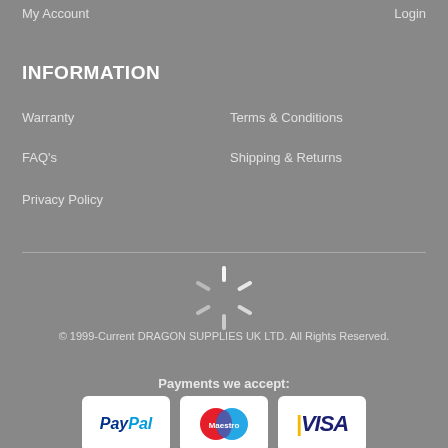My Account    Login
INFORMATION
Warranty
Terms & Conditions
FAQ's
Shipping & Returns
Privacy Policy
[Figure (other): Loading spinner / animated loader icon]
© 1999-Current DRAGON SUPPLIES UK LTD. All Rights Reserved.
Payments we accept:
[Figure (other): Payment method logos: PayPal, Maestro, Visa]